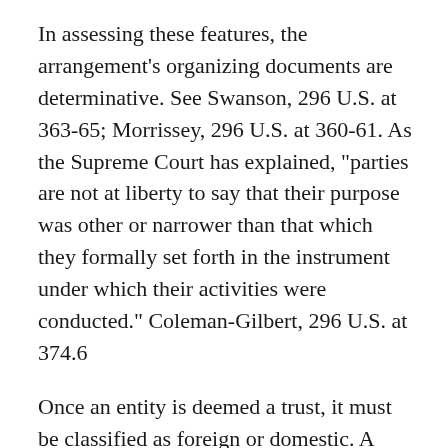In assessing these features, the arrangement's organizing documents are determinative. See Swanson, 296 U.S. at 363-65; Morrissey, 296 U.S. at 360-61. As the Supreme Court has explained, "parties are not at liberty to say that their purpose was other or narrower than that which they formally set forth in the instrument under which their activities were conducted." Coleman-Gilbert, 296 U.S. at 374.6
Once an entity is deemed a trust, it must be classified as foreign or domestic. A foreign trust is "any trust other than a trust" that is a "United States person" (i.e., a domestic trust). I.R.C. § 7701(a)(30)(E), (31)(B); Treas. Reg. § 301.7701-7(a)(2). A trust is domestic if (1) "a court within the United States is able to exercise primary supervision over the administration of the trust" (the